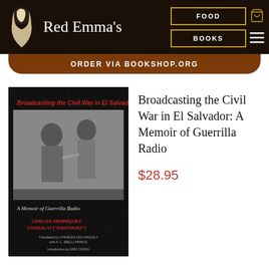Red Emma's
ORDER VIA BOOKSHOP.ORG
[Figure (photo): Book cover of 'Broadcasting the Civil War in El Salvador: A Memoir of Guerrilla Radio' showing a black and white photo of two people in a forest setting, with red title text and author names including Carlos Henríquez Consalvi ('Santiago'), translated by Charles Leo Nagle II with A.L. (Bell) Prince, introduction by Eric Ching]
Broadcasting the Civil War in El Salvador: A Memoir of Guerrilla Radio
$28.95